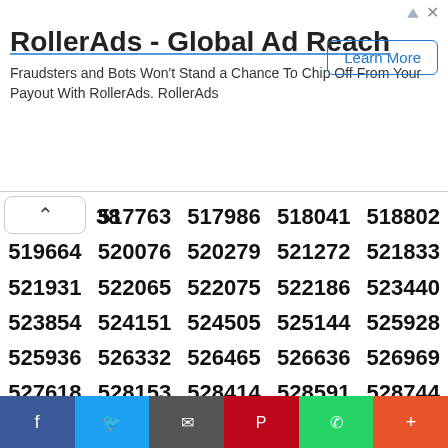[Figure (other): RollerAds advertisement banner with title 'RollerAds - Global Ad Reach', body text 'Fraudsters and Bots Won’t Stand a Chance To Chip Off From Your Payout With RollerAds. RollerAds', and a 'Learn More' button.]
| 38 | 517763 | 517986 | 518041 | 518802 |
| 519664 | 520076 | 520279 | 521272 | 521833 |
| 521931 | 522065 | 522075 | 522186 | 523440 |
| 523854 | 524151 | 524505 | 525144 | 525928 |
| 525936 | 526332 | 526465 | 526636 | 526969 |
| 527618 | 528153 | 528414 | 528591 | 528744 |
| 528797 | 528950 | 529947 | 531084 | 531633 |
| 531997 | 532442 | 532635 | 532649 | 533060 |
| 533061 | 533136 | 533342 | 533650 | 533971 |
| 534413 | 534721 | 534781 | 534858 | 535260 |
| 535496 | 536315 | 536922 | 537119 | 537135 |
| 537153 | 537291 | 537510 | 537822 | 537844 |
| 538881 | 539108 | 539352 | 539773 | 541655 |